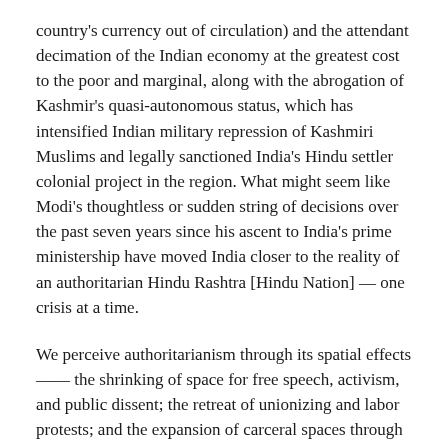country's currency out of circulation) and the attendant decimation of the Indian economy at the greatest cost to the poor and marginal, along with the abrogation of Kashmir's quasi-autonomous status, which has intensified Indian military repression of Kashmiri Muslims and legally sanctioned India's Hindu settler colonial project in the region. What might seem like Modi's thoughtless or sudden string of decisions over the past seven years since his ascent to India's prime ministership have moved India closer to the reality of an authoritarian Hindu Rashtra [Hindu Nation] — one crisis at a time.
We perceive authoritarianism through its spatial effects —— the shrinking of space for free speech, activism, and public dissent; the retreat of unionizing and labor protests; and the expansion of carceral spaces through prisons, detention centers, and policing and surveillance infrastructure.